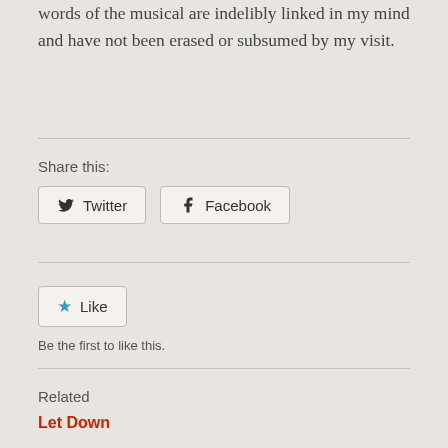words of the musical are indelibly linked in my mind and have not been erased or subsumed by my visit.
Share this:
[Figure (other): Social share buttons: Twitter and Facebook]
[Figure (other): Like button widget]
Be the first to like this.
Related
Let Down